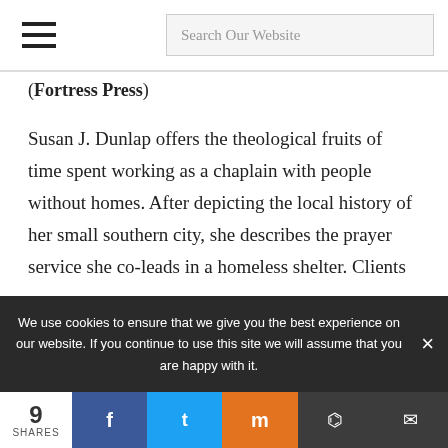Search Our Website
(Fortress Press)
Susan J. Dunlap offers the theological fruits of time spent working as a chaplain with people without homes. After depicting the local history of her small southern city, she describes the prayer service she co-leads in a homeless shelter. Clients offer words of faith and encouragement that take the form of
We use cookies to ensure that we give you the best experience on our website. If you continue to use this site we will assume that you are happy with it.
9 SHARES